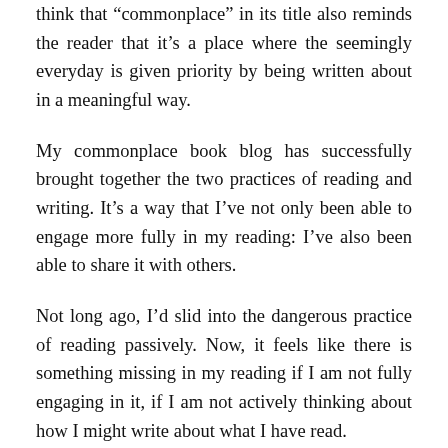think that “commonplace” in its title also reminds the reader that it’s a place where the seemingly everyday is given priority by being written about in a meaningful way.
My commonplace book blog has successfully brought together the two practices of reading and writing. It’s a way that I’ve not only been able to engage more fully in my reading: I’ve also been able to share it with others.
Not long ago, I’d slid into the dangerous practice of reading passively. Now, it feels like there is something missing in my reading if I am not fully engaging in it, if I am not actively thinking about how I might write about what I have read.
There also appears to be the idea that I’ve not only been able to...